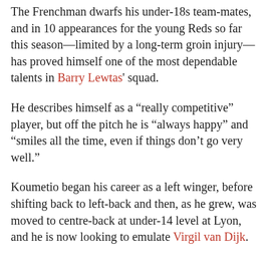The Frenchman dwarfs his under-18s teammates, and in 10 appearances for the young Reds so far this season—limited by a long-term groin injury—has proved himself one of the most dependable talents in Barry Lewtas' squad.
He describes himself as a "really competitive" player, but off the pitch he is "always happy" and "smiles all the time, even if things don't go very well."
Koumetio began his career as a left winger, before shifting back to left-back and then, as he grew, was moved to centre-back at under-14 level at Lyon, and he is now looking to emulate Virgil van Dijk.